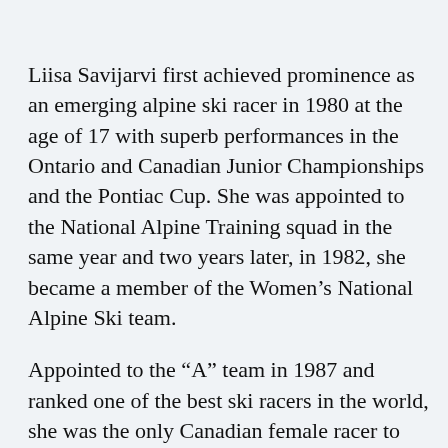Liisa Savijarvi first achieved prominence as an emerging alpine ski racer in 1980 at the age of 17 with superb performances in the Ontario and Canadian Junior Championships and the Pontiac Cup. She was appointed to the National Alpine Training squad in the same year and two years later, in 1982, she became a member of the Women's National Alpine Ski team.
Appointed to the “A” team in 1987 and ranked one of the best ski racers in the world, she was the only Canadian female racer to train in Downhill, Giant Slalom and Super G. Sadly, her promising career ended prematurely on March 17, 1987, when she suffered severe leg